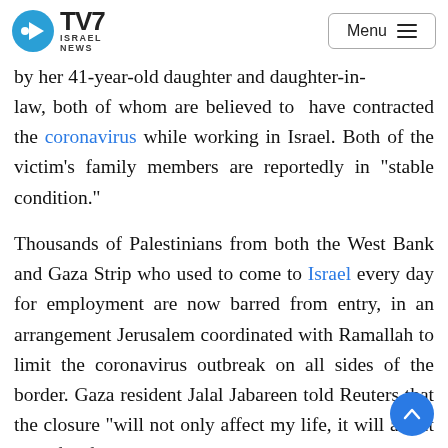TV7 ISRAEL NEWS | Menu
by her 41-year-old daughter and daughter-in-law, both of whom are believed to have contracted the coronavirus while working in Israel. Both of the victim’s family members are reportedly in “stable condition.”
Thousands of Palestinians from both the West Bank and Gaza Strip who used to come to Israel every day for employment are now barred from entry, in an arrangement Jerusalem coordinated with Ramallah to limit the coronavirus outbreak on all sides of the border. Gaza resident Jalal Jabareen told Reuters that the closure “will not only affect my life, it will affect the life of all the Palestinians,” who he said are still “trying to cross over to Israel.” Another, Ibrahim Sadakah explained, “We are workers and we have financial commitments,” adding that he was the only employed